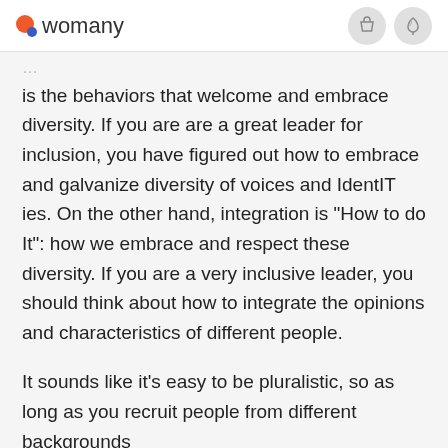womany
is the behaviors that welcome and embrace diversity. If you are are a great leader for inclusion, you have figured out how to embrace and galvanize diversity of voices and IdentIT ies. On the other hand, integration is "How to do It": how we embrace and respect these diversity. If you are a very inclusive leader, you should think about how to integrate the opinions and characteristics of different people.
It sounds like it's easy to be pluralistic, so as long as you recruit people from different backgrounds